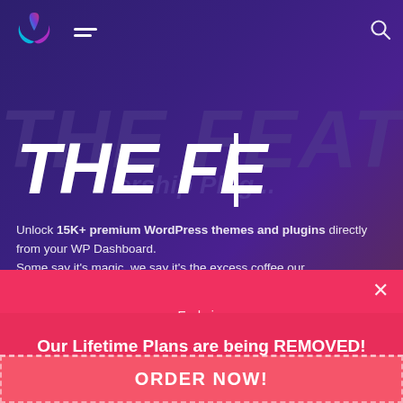[Figure (screenshot): Website screenshot showing a WordPress plugin/theme membership service. Dark purple hero background with logo, hamburger menu, and search icon in navbar. Large italic bold heading 'THE FE' partially visible with a white vertical accent line. Subtext about unlocking 15K+ premium WordPress themes and plugins.]
Unlock 15K+ premium WordPress themes and plugins directly from your WP Dashboard. Some say it's magic, we say it's the excess coffee our
Ends in:
02d  23h  59m  42s
Our Lifetime Plans are being REMOVED! ACT NOW AND GET 10% DISCOUNT
ORDER NOW!